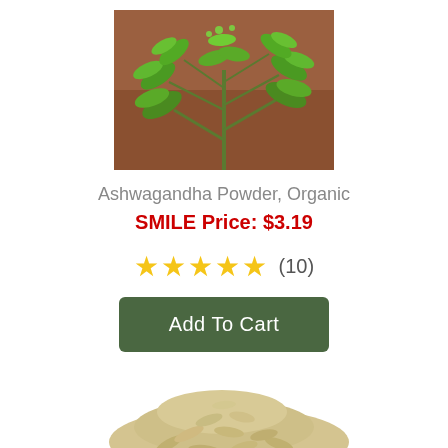[Figure (photo): Photo of an ashwagandha plant with green leaves against a reddish-brown soil background]
Ashwagandha Powder, Organic
SMILE Price: $3.19
★★★★★ (10)
Add To Cart
[Figure (photo): Photo of a pile of dried ashwagandha root pieces, beige/cream colored, partially visible at bottom of page]